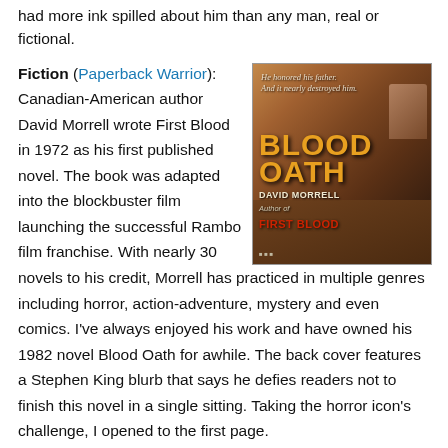had more ink spilled about him than any man, real or fictional.
Fiction (Paperback Warrior): Canadian-American author David Morrell wrote First Blood in 1972 as his first published novel. The book was adapted into the blockbuster film launching the successful Rambo film franchise. With nearly 30 novels to his credit, Morrell has practiced in multiple genres including horror, action-adventure, mystery and even comics. I've always enjoyed his work and have owned his 1982 novel Blood Oath for awhile. The back cover features a Stephen King blurb that says he defies readers not to finish this novel in a single sitting. Taking the horror icon's challenge, I opened to the first page.
[Figure (illustration): Book cover of 'Blood Oath' by David Morrell, author of First Blood. Shows a rugged man's face with text 'He honored his father. And it nearly destroyed him.' Title in large orange letters, with red 'First Blood' text below author name.]
Biography (The Federalist): That is why the character endures; Howard transported readers to an age where all one needed